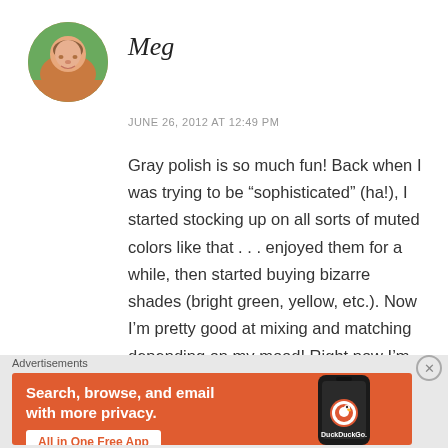[Figure (photo): Circular avatar photo of a woman smiling, with warm outdoor background tones]
Meg
JUNE 26, 2012 AT 12:49 PM
Gray polish is so much fun! Back when I was trying to be “sophisticated” (ha!), I started stocking up on all sorts of muted colors like that . . . enjoyed them for a while, then started buying bizarre shades (bright green, yellow, etc.). Now I’m pretty good at mixing and matching depending on my mood! Right now I’m rocking gold
Advertisements
[Figure (infographic): DuckDuckGo advertisement banner on orange background. Text: Search, browse, and email with more privacy. All in One Free App. Shows DuckDuckGo logo on a phone mockup.]